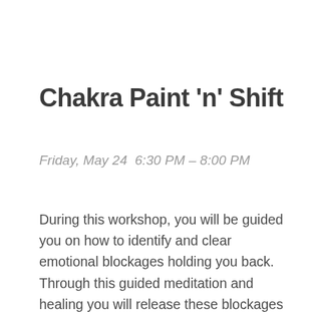Chakra Paint 'n' Shift
Friday, May 24  6:30 PM – 8:00 PM
During this workshop, you will be guided you on how to identify and clear emotional blockages holding you back. Through this guided meditation and healing you will release these blockages easily and be fully re-aligned for your highest and best good so you